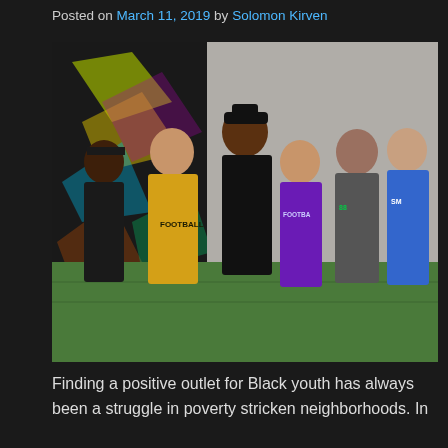Posted on March 11, 2019 by Solomon Kirven
[Figure (photo): Group photo of six young men posing together indoors on a sports turf field. One man is shirtless, one wears a yellow football sweatshirt, one wears all black, one wears a purple Under Armour football shirt, one wears a gray hoodie with green logo, and one wears a blue Adidas sleeveless shirt labeled SM. There is colorful graffiti-style mural art on the wall behind them.]
Finding a positive outlet for Black youth has always been a struggle in poverty stricken neighborhoods. In